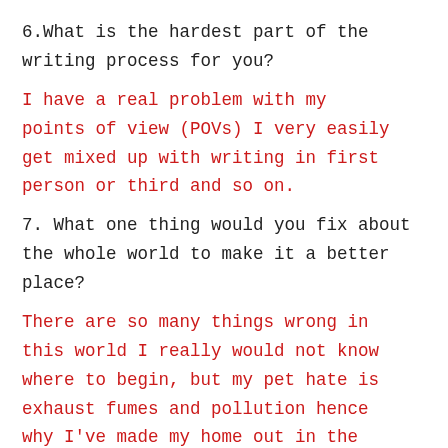6.What is the hardest part of the writing process for you?
I have a real problem with my points of view (POVs) I very easily get mixed up with writing in first person or third and so on.
7. What one thing would you fix about the whole world to make it a better place?
There are so many things wrong in this world I really would not know where to begin, but my pet hate is exhaust fumes and pollution hence why I've made my home out in the